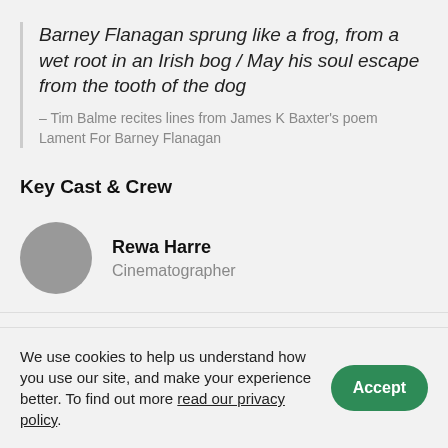Barney Flanagan sprung like a frog, from a wet root in an Irish bog / May his soul escape from the tooth of the dog
– Tim Balme recites lines from James K Baxter's poem Lament For Barney Flanagan
Key Cast & Crew
Rewa Harre
Cinematographer
We use cookies to help us understand how you use our site, and make your experience better. To find out more read our privacy policy.